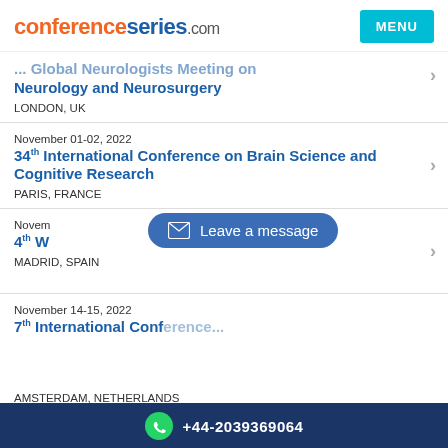conferenceseries.com
... Global Neurologists Meeting on Neurology and Neurosurgery
LONDON, UK
November 01-02, 2022
34th International Conference on Brain Science and Cognitive Research
PARIS, FRANCE
November ...
4th W...
MADRID, SPAIN
November 14-15, 2022
7th International Conf...
AMSTERDAM, NETHERLANDS